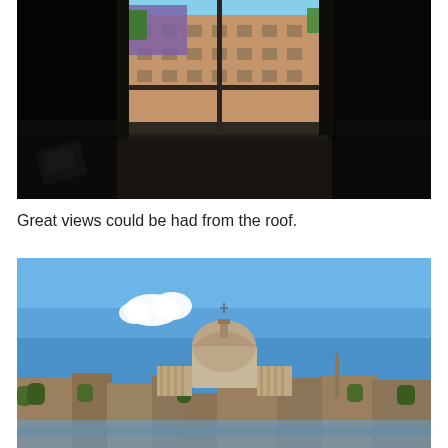[Figure (photo): Interior dark room with open window showing view of a classical Italian building exterior with orange and beige facade, trees visible, bright daylight outside contrasting with dark interior]
Great views could be had from the roof.
[Figure (photo): Panoramic rooftop view of Rome skyline featuring St. Peter's Basilica dome prominently in center, clear blue sky with one white cloud, city buildings and trees in foreground]